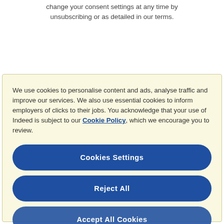change your consent settings at any time by unsubscribing or as detailed in our terms.
We use cookies to personalise content and ads, analyse traffic and improve our services. We also use essential cookies to inform employers of clicks to their jobs. You acknowledge that your use of Indeed is subject to our Cookie Policy, which we encourage you to review.
Cookies Settings
Reject All
Accept All Cookies